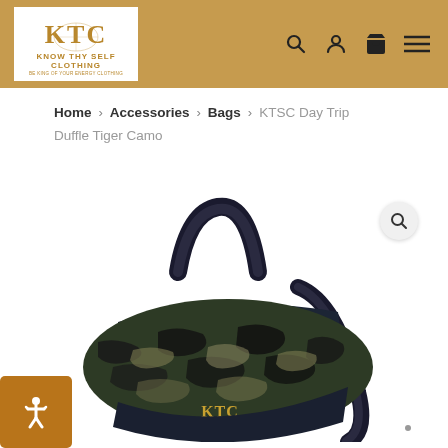Know Thy Self Clothing — navigation header with logo, search, account, cart, and menu icons
Home > Accessories > Bags > KTSC Day Trip Duffle Tiger Camo
[Figure (photo): KTSC Day Trip Duffle Bag in Tiger Camo pattern — a cylindrical duffel bag with dark navy/black handles and a tiger camouflage body featuring green, black, and tan tones, with KTC gold monogram logo on the front]